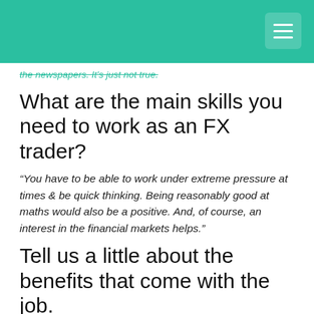the newspapers. It's just not true.
What are the main skills you need to work as an FX trader?
“You have to be able to work under extreme pressure at times & be quick thinking. Being reasonably good at maths would also be a positive. And, of course, an interest in the financial markets helps.”
Tell us a little about the benefits that come with the job.
“My company offer a good overall package and are